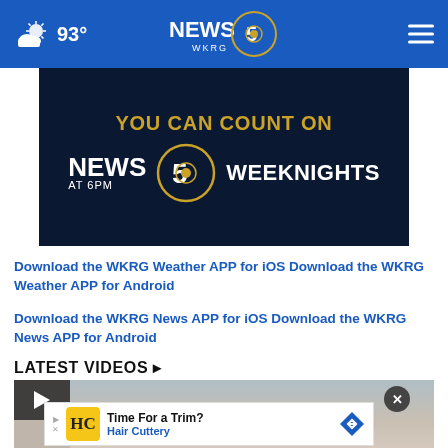93° | NEWS 5 WKRG
[Figure (screenshot): WKRG News 5 promotional banner: YOU CAN COUNT ON NEWS 5 AT 6PM WEEKNIGHTS on dark navy background with gold logo]
Download the WKRG Weather APP for iOS Download the WKRG Weather APP for Android
Download the WKRG News APP for iOS Download the WKRG News APP for Android
LATEST VIDEOS ▶
[Figure (screenshot): Video thumbnail with play button, close button (X), and Hair Cuttery advertisement overlay showing 'Time For a Trim?' text]
Time For a Trim? Hair Cuttery